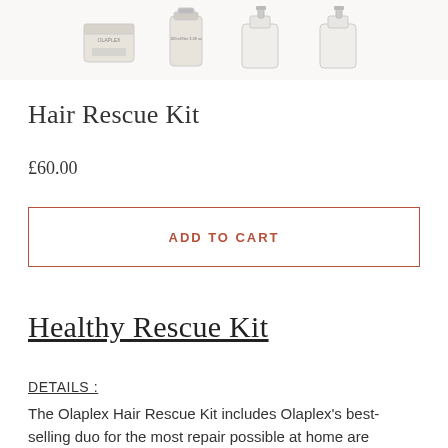[Figure (photo): Product images of Olaplex hair care bottles and containers shown at the top of the page]
Hair Rescue Kit
£60.00
ADD TO CART
Healthy Rescue Kit
DETAILS :
The Olaplex Hair Rescue Kit includes Olaplex's best-selling duo for the most repair possible at home are together in a limited-edition set for Holiday.